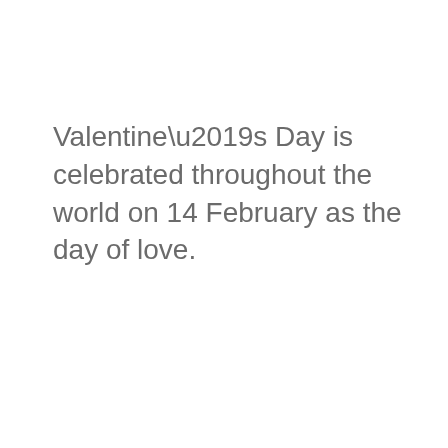Valentine’s Day is celebrated throughout the world on 14 February as the day of love.